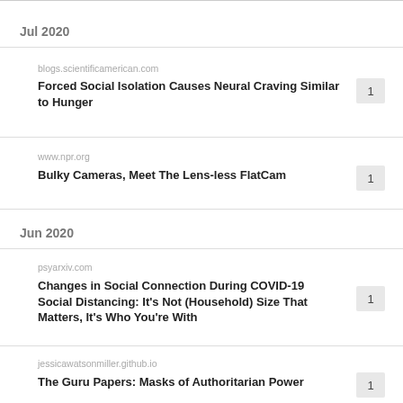Jul 2020
blogs.scientificamerican.com
Forced Social Isolation Causes Neural Craving Similar to Hunger
www.npr.org
Bulky Cameras, Meet The Lens-less FlatCam
Jun 2020
psyarxiv.com
Changes in Social Connection During COVID-19 Social Distancing: It's Not (Household) Size That Matters, It's Who You're With
jessicawatsonmiller.github.io
The Guru Papers: Masks of Authoritarian Power